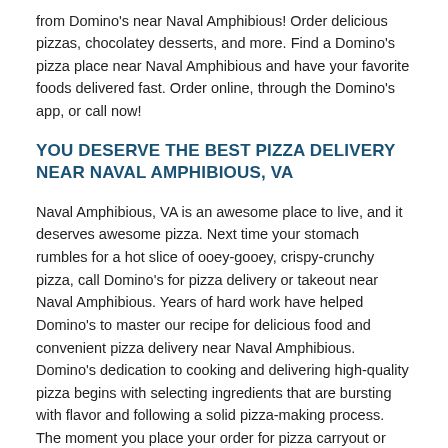from Domino's near Naval Amphibious! Order delicious pizzas, chocolatey desserts, and more. Find a Domino's pizza place near Naval Amphibious and have your favorite foods delivered fast. Order online, through the Domino's app, or call now!
YOU DESERVE THE BEST PIZZA DELIVERY NEAR NAVAL AMPHIBIOUS, VA
Naval Amphibious, VA is an awesome place to live, and it deserves awesome pizza. Next time your stomach rumbles for a hot slice of ooey-gooey, crispy-crunchy pizza, call Domino's for pizza delivery or takeout near Naval Amphibious. Years of hard work have helped Domino's to master our recipe for delicious food and convenient pizza delivery near Naval Amphibious. Domino's dedication to cooking and delivering high-quality pizza begins with selecting ingredients that are bursting with flavor and following a solid pizza-making process. The moment you place your order for pizza carryout or delivery near Naval Amphibious, your local Domino's jumps into action. Your crunchy thin crust, hand-tossed, fluffy Brooklyn-style, or gluten-free pizza crust is prepared and smothered in a sauce of your choosing. You can stick to a familiar flavor with an authentic marinara, or venture into